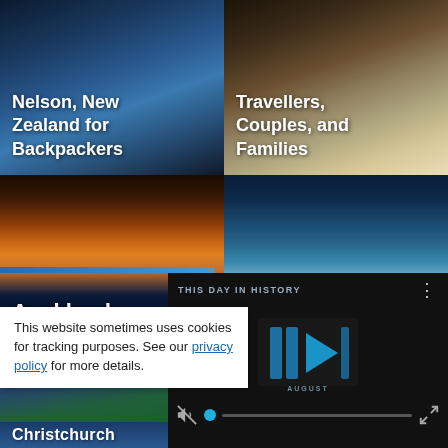[Figure (photo): Nelson, New Zealand mountain/lake photo top-left, partially cropped]
Nelson, New Zealand for Backpackers
[Figure (photo): European-style building photo top-right, partially cropped]
Backpackers, Solo Travellers, Couples, and Families
[Figure (photo): Auckland city skyline at sunset]
Auckland
[Figure (photo): Rotorua beach scene with couple]
Rotorua
[Figure (photo): Wellington city with red cable car tram]
Wellington
[Figure (photo): Coastal sea stacks/rocks at sunset]
This website sometimes uses cookies for tracking purposes. See our privacy policy for more details.
[Figure (screenshot): THIS DAY IN HISTORY video player overlay with play button and muted audio control]
Christchurch
TASMAN